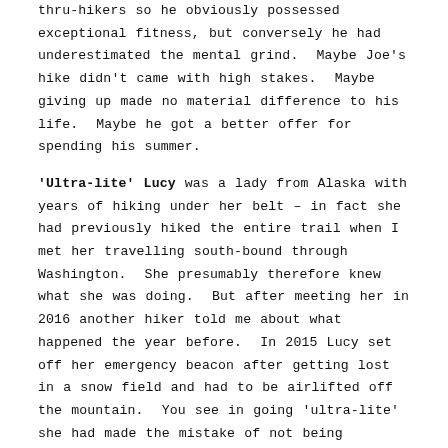thru-hikers so he obviously possessed exceptional fitness, but conversely he had underestimated the mental grind.  Maybe Joe's hike didn't came with high stakes.  Maybe giving up made no material difference to his life.  Maybe he got a better offer for spending his summer.
'Ultra-lite' Lucy was a lady from Alaska with years of hiking under her belt – in fact she had previously hiked the entire trail when I met her travelling south-bound through Washington.  She presumably therefore knew what she was doing.  But after meeting her in 2016 another hiker told me about what happened the year before.  In 2015 Lucy set off her emergency beacon after getting lost in a snow field and had to be airlifted off the mountain.  You see in going 'ultra-lite' she had made the mistake of not being adequately prepared for cold temperatures: remember what the Boy Scouts say about being